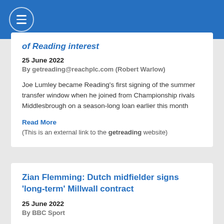of Reading interest
25 June 2022
By getreading@reachplc.com (Robert Warlow)
Joe Lumley became Reading's first signing of the summer transfer window when he joined from Championship rivals Middlesbrough on a season-long loan earlier this month
Read More
(This is an external link to the getreading website)
Zian Flemming: Dutch midfielder signs 'long-term' Millwall contract
25 June 2022
By BBC Sport